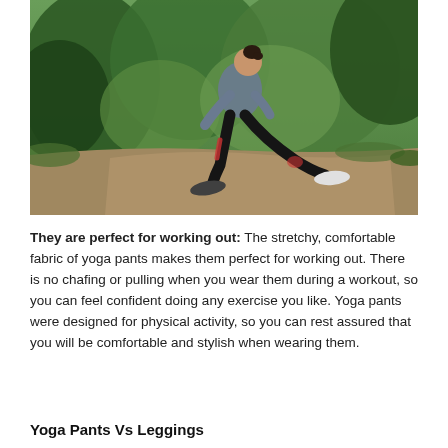[Figure (photo): Woman in a gray hoodie and black/red leggings doing a lunge stretch on a dirt path surrounded by green trees and foliage.]
They are perfect for working out: The stretchy, comfortable fabric of yoga pants makes them perfect for working out. There is no chafing or pulling when you wear them during a workout, so you can feel confident doing any exercise you like. Yoga pants were designed for physical activity, so you can rest assured that you will be comfortable and stylish when wearing them.
Yoga Pants Vs Leggings